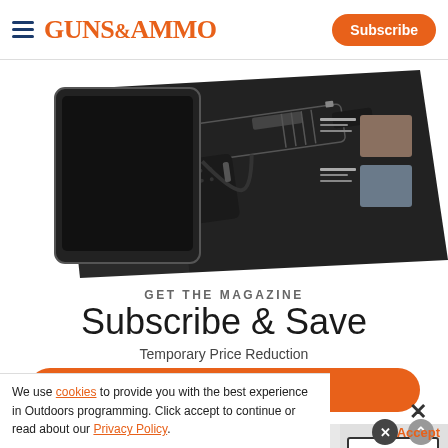Guns & Ammo — Subscribe
[Figure (screenshot): Magazine cover showing a pistol on a dark background, displayed at an angle]
GET THE MAGAZINE
Subscribe & Save
Temporary Price Reduction
SUBSCRIBE NOW >
Advertisement
[Figure (logo): Ballistic Advantage advertisement banner with SHOP NOW button]
We use cookies to provide you with the best experience in Outdoors programming. Click accept to continue or read about our Privacy Policy.